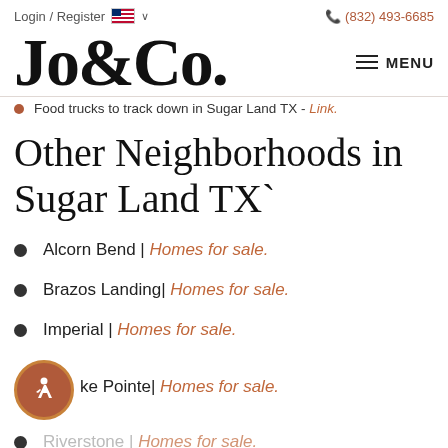Login / Register   🇺🇸 ∨   (832) 493-6685
Jo&Co.
Food trucks to track down in Sugar Land TX - Link.
Other Neighborhoods in Sugar Land TX`
Alcorn Bend | Homes for sale.
Brazos Landing| Homes for sale.
Imperial | Homes for sale.
ke Pointe| Homes for sale.
Riverstone | Homes for sale.